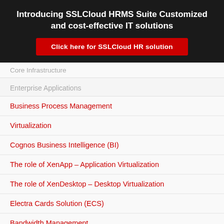Introducing SSLCloud HRMS Suite Customized and cost-effective IT solutions
Click here for SSLCloud HR solution
Core Infrastructure
Enterprise Applications
Business Process Management
Virtualization
Cognos Business Intelligence (BI)
The role of XenApp – Application Virtualization
The role of XenDesktop – Desktop Virtualization
Electra Cards Solution (ECS)
Bandwidth Management